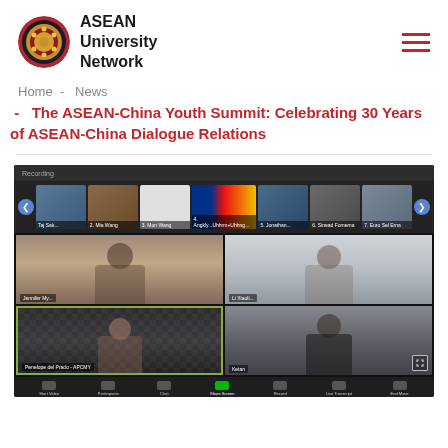[Figure (logo): ASEAN University Network logo — circular emblem with red border and gold design on dark background, next to bold text 'ASEAN University Network']
Home  -  News
- The ASEAN-China Youth Summit: Celebrating 30 Years of ASEAN-China Dialogue Relations
[Figure (screenshot): Screenshot of a Zoom video conference showing multiple participants. Top strip shows 7 participant thumbnails with navigation arrows. Main grid shows 4 participants: a woman with dark hair (top-left), a woman with glasses in bright room (top-right), a woman with dark background with decorative pattern (bottom-left, highlighted with green border, labeled 'Penelope del Prado - APCMY'), and a man in dark clothing (bottom-right, labeled 'Ketan'). Zoom toolbar visible at bottom.]